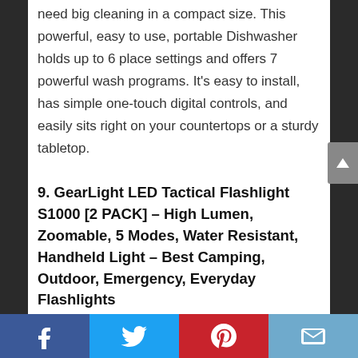need big cleaning in a compact size. This powerful, easy to use, portable Dishwasher holds up to 6 place settings and offers 7 powerful wash programs. It's easy to install, has simple one-touch digital controls, and easily sits right on your countertops or a sturdy tabletop.
9. GearLight LED Tactical Flashlight S1000 [2 PACK] – High Lumen, Zoomable, 5 Modes, Water Resistant, Handheld Light – Best Camping, Outdoor, Emergency, Everyday Flashlights